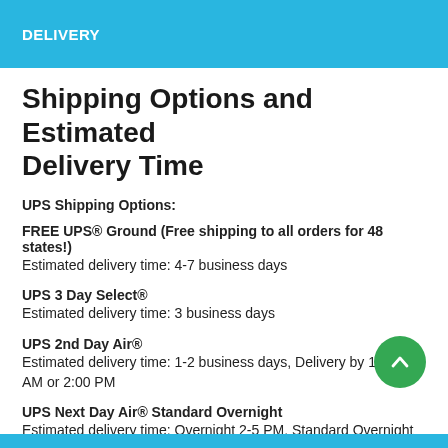DELIVERY
Shipping Options and Estimated Delivery Time
UPS Shipping Options:
FREE UPS® Ground (Free shipping to all orders for 48 states!) Estimated delivery time: 4-7 business days
UPS 3 Day Select® Estimated delivery time: 3 business days
UPS 2nd Day Air® Estimated delivery time: 1-2 business days, Delivery by 10:30 AM or 2:00 PM
UPS Next Day Air® Standard Overnight Estimated delivery time: Overnight 2-5 PM, Standard Overnight Delivery.